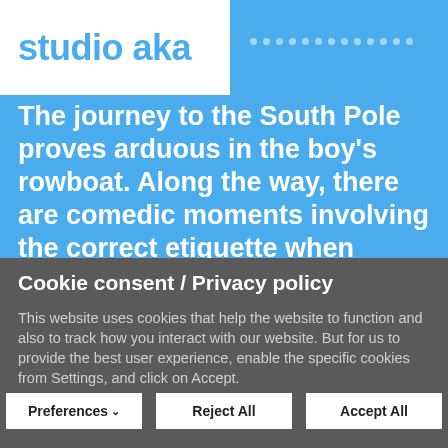studio aka
The journey to the South Pole proves arduous in the boy's rowboat. Along the way, there are comedic moments involving the correct etiquette when offered fish, thoughtful non-sequiturs involving plastic ducks, and some stark reminders of just how scary the ocean can be. After a mildly terrifying encounter with a giant octopus ( no spoilers, but all is not what it seems) the boy delivers on his promise and
Cookie consent / Privacy policy
This website uses cookies that help the website to function and also to track how you interact with our website. But for us to provide the best user experience, enable the specific cookies from Settings, and click on Accept.
Preferences
Reject All
Accept All